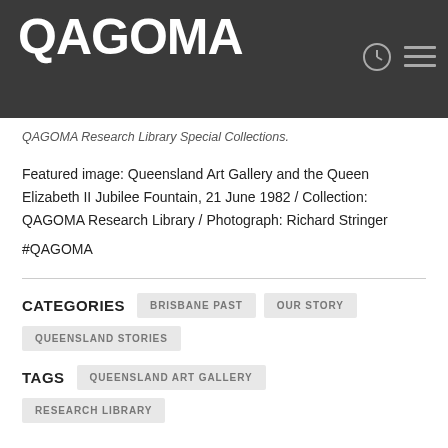QAGOMA
QAGOMA Research Library Special Collections.
Featured image: Queensland Art Gallery and the Queen Elizabeth II Jubilee Fountain, 21 June 1982 / Collection: QAGOMA Research Library / Photograph: Richard Stringer
#QAGOMA
CATEGORIES   BRISBANE PAST   OUR STORY   QUEENSLAND STORIES
TAGS   QUEENSLAND ART GALLERY   RESEARCH LIBRARY